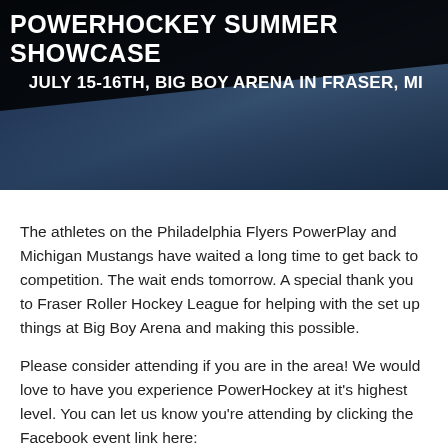[Figure (photo): Banner image for PowerHockey Summer Showcase event with dark overlay text reading 'POWERHOCKEY SUMMER SHOWCASE' and 'JULY 15-16TH, BIG BOY ARENA IN FRASER, MI' over a hockey background image.]
The athletes on the Philadelphia Flyers PowerPlay and Michigan Mustangs have waited a long time to get back to competition. The wait ends tomorrow. A special thank you to Fraser Roller Hockey League for helping with the set up things at Big Boy Arena and making this possible.
Please consider attending if you are in the area! We would love to have you experience PowerHockey at it's highest level. You can let us know you're attending by clicking the Facebook event link here: https://www.facebook.com/events/12198459654854​80.
If you are unable to attending we will (hopefully) be streaming